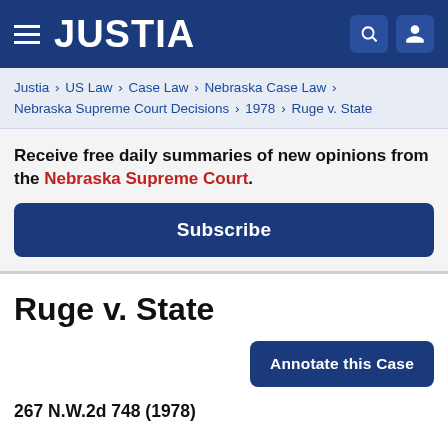JUSTIA
Justia › US Law › Case Law › Nebraska Case Law › Nebraska Supreme Court Decisions › 1978 › Ruge v. State
Receive free daily summaries of new opinions from the Nebraska Supreme Court.
Subscribe
Ruge v. State
Annotate this Case
267 N.W.2d 748 (1978)